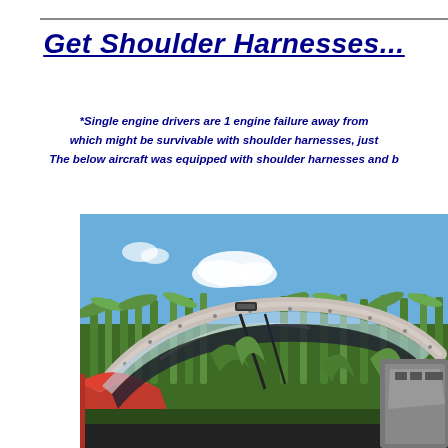Get Shoulder Harnesses...
*Single engine drivers are 1 engine failure away from... which might be survivable with shoulder harnesses, just... The below aircraft was equipped with shoulder harnesses and b...
[Figure (photo): Crashed red aircraft in a cornfield, showing the canopy and cockpit area with bent frame, crumpled structure, and surrounding green vegetation under a blue sky with clouds]